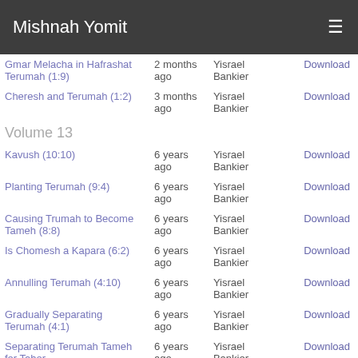Mishnah Yomit
Gmar Melacha in Hafrashat Terumah (1:9) | 2 months ago | Yisrael Bankier | Download
Cheresh and Terumah (1:2) | 3 months ago | Yisrael Bankier | Download
Volume 13
Kavush (10:10) | 6 years ago | Yisrael Bankier | Download
Planting Terumah (9:4) | 6 years ago | Yisrael Bankier | Download
Causing Trumah to Become Tameh (8:8) | 6 years ago | Yisrael Bankier | Download
Is Chomesh a Kapara (6:2) | 6 years ago | Yisrael Bankier | Download
Annulling Terumah (4:10) | 6 years ago | Yisrael Bankier | Download
Gradually Separating Terumah (4:1) | 6 years ago | Yisrael Bankier | Download
Separating Terumah Tameh for Tahor | 6 years ago | Yisrael Bankier | Download